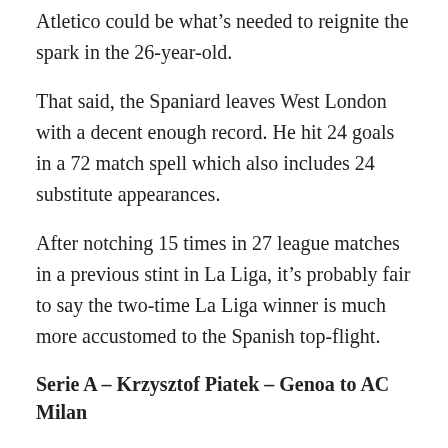Atletico could be what's needed to reignite the spark in the 26-year-old.
That said, the Spaniard leaves West London with a decent enough record. He hit 24 goals in a 72 match spell which also includes 24 substitute appearances.
After notching 15 times in 27 league matches in a previous stint in La Liga, it's probably fair to say the two-time La Liga winner is much more accustomed to the Spanish top-flight.
Serie A – Krzysztof Piatek – Genoa to AC Milan
Sensing a theme in this rundown? That's because the biggest winter transfer deals tend to involve forwards. And we reckon AC Milan new boy Piatek could prove to